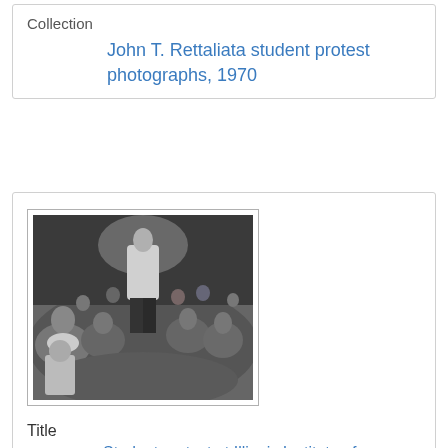Collection
John T. Rettaliata student protest photographs, 1970
[Figure (photo): Black and white photograph of a large crowd of students at a protest gathering, with one person standing above the crowd, shot from behind, at Illinois Institute of Technology, 1970]
Title
Student protest at Illinois Institute of Technology, 1970
Creator
Illinois Institute of Technology
Date